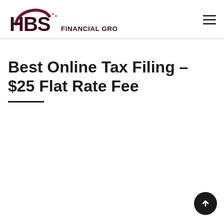HBS FINANCIAL GROUP, LTD.
Best Online Tax Filing – $25 Flat Rate Fee